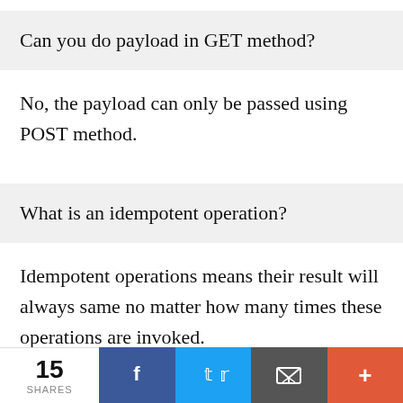Can you do payload in GET method?
No, the payload can only be passed using POST method.
What is an idempotent operation?
Idempotent operations means their result will always same no matter how many times these operations are invoked.
15 SHARES